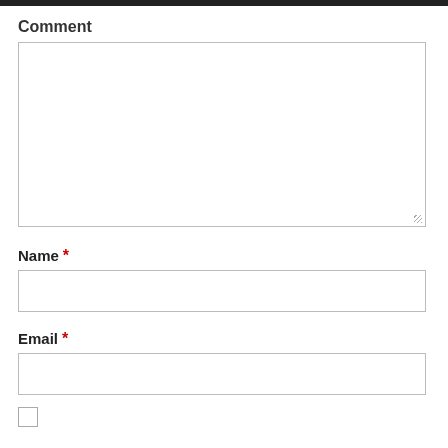Comment
[Figure (screenshot): Large empty textarea input box for comment]
Name *
[Figure (screenshot): Single-line text input box for Name]
Email *
[Figure (screenshot): Single-line text input box for Email]
[Figure (screenshot): Checkbox unchecked]